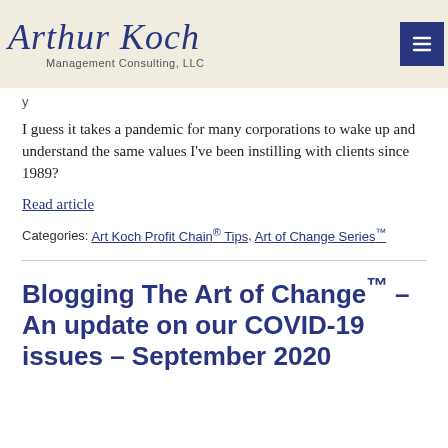Arthur Koch Management Consulting, LLC
I guess it takes a pandemic for many corporations to wake up and understand the same values I've been instilling with clients since 1989?
Read article
Categories: Art Koch Profit Chain® Tips, Art of Change Series™
Blogging The Art of Change™ – An update on our COVID-19 issues – September 2020